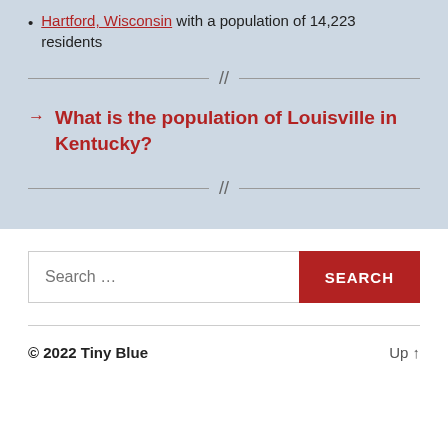Hartford, Wisconsin with a population of 14,223 residents
→ What is the population of Louisville in Kentucky?
Search ...
© 2022 Tiny Blue    Up ↑